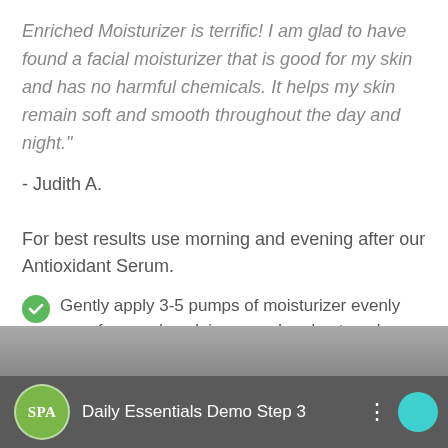Enriched Moisturizer is terrific! I am glad to have found a facial moisturizer that is good for my skin and has no harmful chemicals. It helps my skin remain soft and smooth throughout the day and night."
- Judith A.
For best results use morning and evening after our Antioxidant Serum.
Gently apply 3-5 pumps of moisturizer evenly over face and neck in upward and outward movements
Blend 1-2 pumps of Glow Boost for extra hydration
[Figure (screenshot): Video thumbnail showing 'Daily Essentials Demo Step 3' with SPA logo circle in green, a person visible in background, three-dot menu icon, and teal circle button on the right]